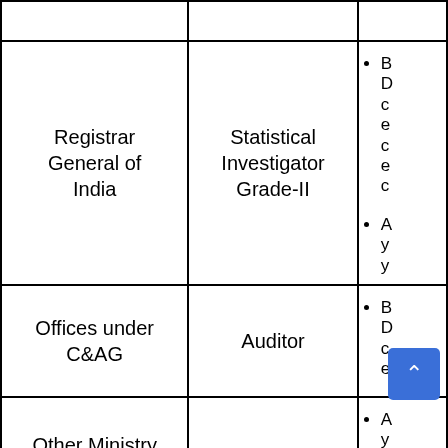| Organisation | Post | Eligibility |
| --- | --- | --- |
|  |  |  |
| Registrar General of India | Statistical Investigator Grade-II | • [partial]
• [partial] |
| Offices under C&AG | Auditor | • [partial] |
| Other Ministry / Department | Auditor | • [partial] |
| Offices under CGDA | Auditor |  |
| Offices under... | Accountant... |  |